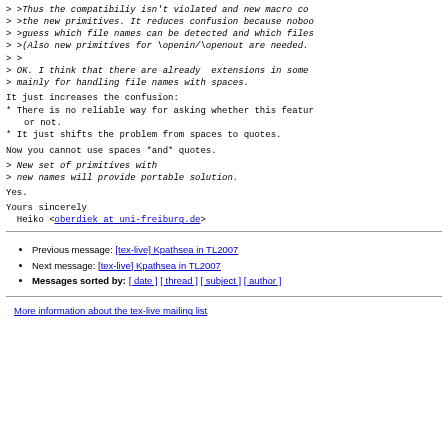> >Thus the compatibiliy isn't violated and new macro co...
> >the new primitives. It reduces confusion because nobod...
> >guess which file names can be detected and which files...
> >(Also new primitives for \openin/\openout are needed....
> >
> OK. I think that there are already  extensions in some...
> mainly for handling file names with spaces.
It just increases the confusion:
* There is no reliable way for asking whether this featur...
  or not.
* It just shifts the problem from spaces to quotes.
Now you cannot use spaces *and* quotes.
> New set of primitives with
> new names will provide portable solution.
Yes.
Yours sincerely
  Heiko <oberdiek at uni-freiburg.de>
Previous message: [tex-live] Kpathsea in TL2007
Next message: [tex-live] Kpathsea in TL2007
Messages sorted by: [ date ] [ thread ] [ subject ] [ author ]
More information about the tex-live mailing list